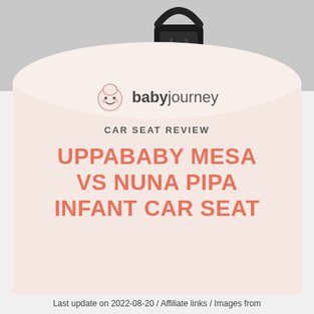[Figure (photo): Infant car seat product photo on gray background]
[Figure (logo): Baby Journey logo with cartoon baby face icon and text 'babyjourney']
CAR SEAT REVIEW
UPPABABY MESA VS NUNA PIPA INFANT CAR SEAT
Last update on 2022-08-20 / Affiliate links / Images from